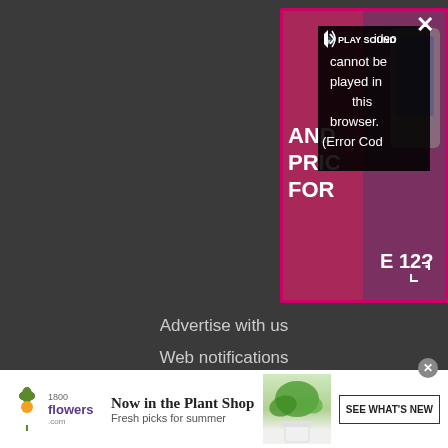[Figure (screenshot): Video player showing error message: 'PLAY SOUND Video cannot be played in this browser. (Error Cod' overlaid on a pink/magenta promotional video with text 'AND PRIC FOR' and 'E 12?' visible. Close (X) button top right, expand button middle right.]
Advertise with us
Web notifications
Accessibility Statement
Careers
Do not sell my info
[Figure (screenshot): Advertisement banner for 1800flowers.com: 'Now in the Plant Shop - Fresh picks for summer' with plant image and 'SEE WHAT'S NEW' button]